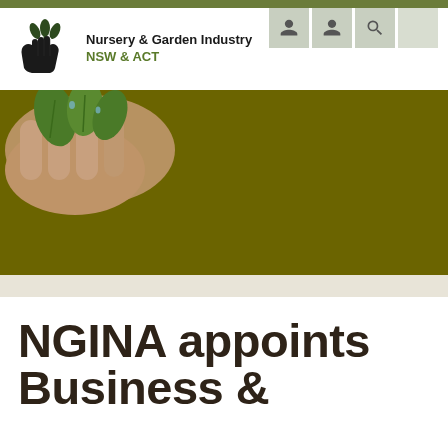[Figure (logo): Nursery & Garden Industry NSW & ACT logo with hand holding plant leaves icon]
[Figure (photo): Hero banner image showing hand holding green plant seedlings against dark olive/brown background]
NGINA appoints Business &